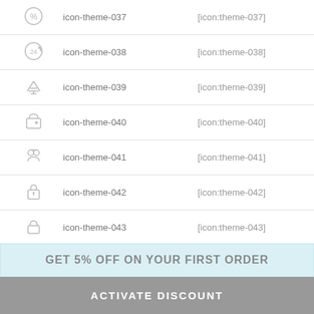| Icon | Name | Code |
| --- | --- | --- |
| [icon] | icon-theme-037 | [icon:theme-037] |
| [icon] | icon-theme-038 | [icon:theme-038] |
| [icon] | icon-theme-039 | [icon:theme-039] |
| [icon] | icon-theme-040 | [icon:theme-040] |
| [icon] | icon-theme-041 | [icon:theme-041] |
| [icon] | icon-theme-042 | [icon:theme-042] |
| [icon] | icon-theme-043 | [icon:theme-043] |
| [icon] | icon-theme-044 | [icon:theme-044] |
GET 5% OFF ON YOUR FIRST ORDER
ACTIVATE DISCOUNT